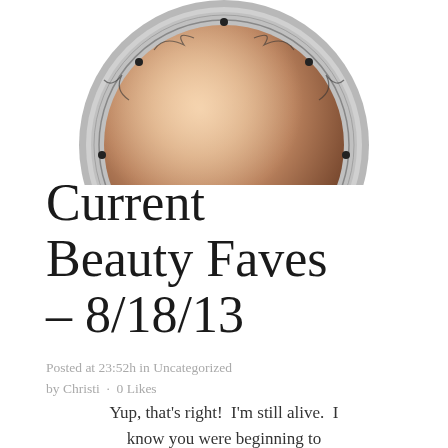[Figure (photo): A circular Hard Candy makeup compact showing a bronze/rose gold shimmer powder, with decorative filigree around the silver rim and the text HARD CANDY at the bottom of the rim. The top portion of the compact is visible, cropped at the page edge.]
Current Beauty Faves – 8/18/13
Posted at 23:52h in Uncategorized by Christi · 0 Likes
Yup, that's right! I'm still alive. I know you were beginning to